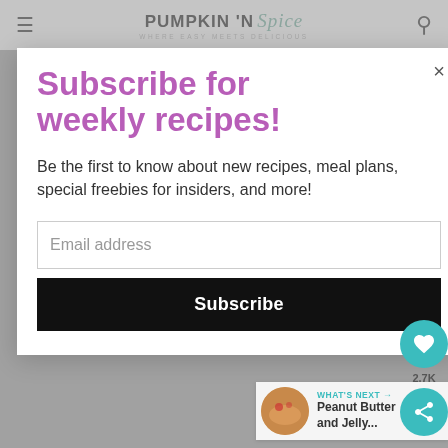PUMPKIN 'N Spice — WHERE EASY MEETS DELICIOUS
Subscribe for weekly recipes!
Be the first to know about new recipes, meal plans, special freebies for insiders, and more!
Email address
Subscribe
2.7K
WHAT'S NEXT → Peanut Butter and Jelly...